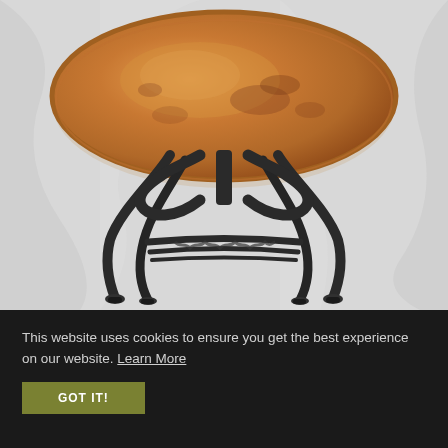[Figure (photo): A round dining table with a copper-toned circular top and an ornate black wrought-iron base with four curved legs connected by twisted iron stretchers, photographed against a white draped fabric background.]
This website uses cookies to ensure you get the best experience on our website. Learn More
GOT IT!